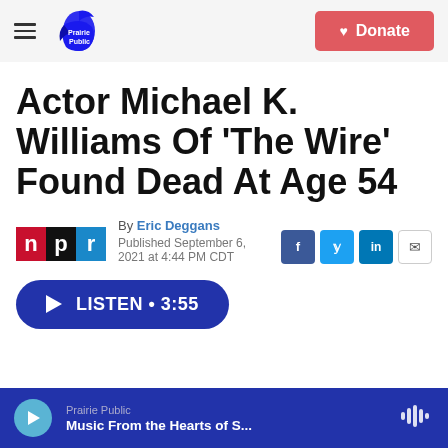Prairie Public | Donate
Actor Michael K. Williams Of 'The Wire' Found Dead At Age 54
By Eric Deggans
Published September 6, 2021 at 4:44 PM CDT
LISTEN • 3:55
Prairie Public — Music From the Hearts of S...